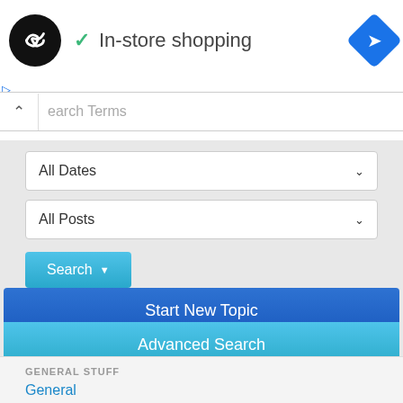[Figure (logo): Black circle logo with double-arrow symbol, followed by green checkmark and 'In-store shopping' text, and blue diamond navigation icon]
In-store shopping
Search Terms
All Dates
All Posts
Search
Start New Topic
Advanced Search
GENERAL STUFF
General
Jacked / Wrecked / Sold